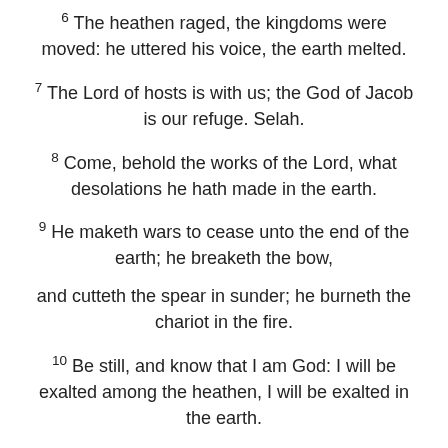6 The heathen raged, the kingdoms were moved: he uttered his voice, the earth melted.
7 The Lord of hosts is with us; the God of Jacob is our refuge. Selah.
8 Come, behold the works of the Lord, what desolations he hath made in the earth.
9 He maketh wars to cease unto the end of the earth; he breaketh the bow,
and cutteth the spear in sunder; he burneth the chariot in the fire.
10 Be still, and know that I am God: I will be exalted among the heathen, I will be exalted in the earth.